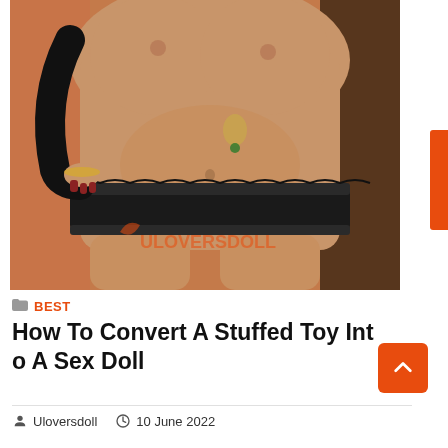[Figure (photo): Product photo of a sex doll torso displayed against an orange/rust fabric background. The doll wears black lace underwear and black gloves. A watermark reading 'ULOVERSDOLL' is visible at the bottom center of the image.]
BEST
How To Convert A Stuffed Toy Into A Sex Doll
Uloversdoll   10 June 2022